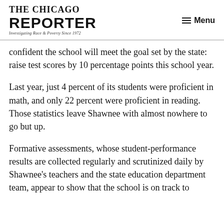THE CHICAGO REPORTER — Investigating Race & Poverty Since 1972 | Menu
confident the school will meet the goal set by the state: raise test scores by 10 percentage points this school year.
Last year, just 4 percent of its students were proficient in math, and only 22 percent were proficient in reading. Those statistics leave Shawnee with almost nowhere to go but up.
Formative assessments, whose student-performance results are collected regularly and scrutinized daily by Shawnee's teachers and the state education department team, appear to show that the school is on track to